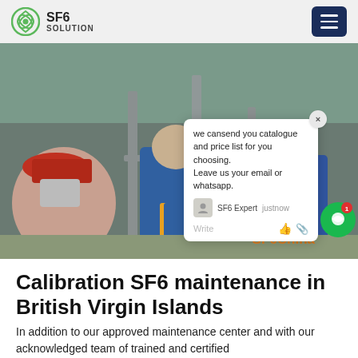SF6 SOLUTION
[Figure (photo): Workers in blue uniforms and hard hats working on industrial equipment outdoors. A chat popup overlay appears on the right side of the image with the text: 'we can send you catalogue and price list for you choosing. Leave us your email or whatsapp.' Signed by SF6 Expert, just now. A green chat bubble icon is visible on the right edge. An orange watermark reads 'SF6China' at the bottom right.]
Calibration SF6 maintenance in British Virgin Islands
In addition to our approved maintenance center and with our acknowledged team of trained and certified